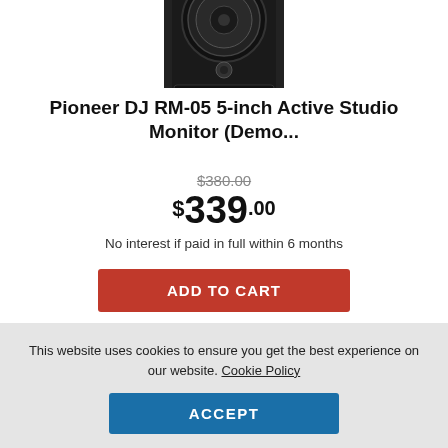[Figure (photo): Black Pioneer DJ RM-05 studio monitor speaker, partially cropped at top of page]
Pioneer DJ RM-05 5-inch Active Studio Monitor (Demo...
$380.00 (strikethrough original price)
$339.00
No interest if paid in full within 6 months
ADD TO CART
Add to list
This website uses cookies to ensure you get the best experience on our website. Cookie Policy
ACCEPT